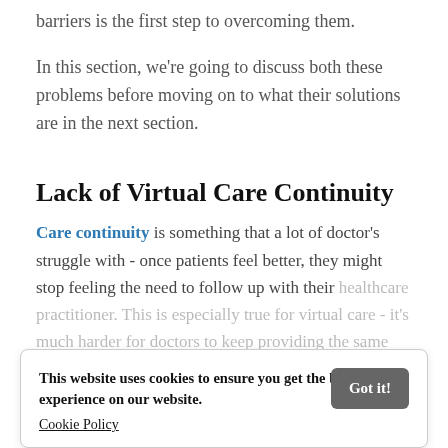barriers is the first step to overcoming them.
In this section, we're going to discuss both these problems before moving on to what their solutions are in the next section.
Lack of Virtual Care Continuity
Care continuity is something that a lot of doctor's struggle with - once patients feel better, they might stop feeling the need to follow up with their healthcare practitioner. This is especially true for virtual care - it's much harder for doctors to keep providing the same care consistently, mainly because of how patients perceive virtual healthcare
This website uses cookies to ensure you get the best experience on our website. Cookie Policy